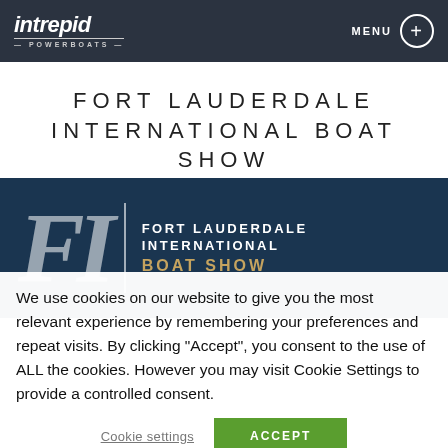intrepid POWERBOATS — MENU
FORT LAUDERDALE INTERNATIONAL BOAT SHOW
[Figure (logo): Fort Lauderdale International Boat Show logo on dark blue background with stylized FLI letters]
We use cookies on our website to give you the most relevant experience by remembering your preferences and repeat visits. By clicking "Accept", you consent to the use of ALL the cookies. However you may visit Cookie Settings to provide a controlled consent.
Cookie settings   ACCEPT